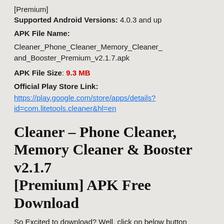[Premium]
Supported Android Versions: 4.0.3 and up
APK File Name: Cleaner_Phone_Cleaner_Memory_Cleaner_and_Booster_Premium_v2.1.7.apk
APK File Size: 9.3 MB
Official Play Store Link: https://play.google.com/store/apps/details?id=com.litetools.cleaner&hl=en
Cleaner – Phone Cleaner, Memory Cleaner & Booster v2.1.7 [Premium] APK Free Download
So Excited to download? Well, click on below button